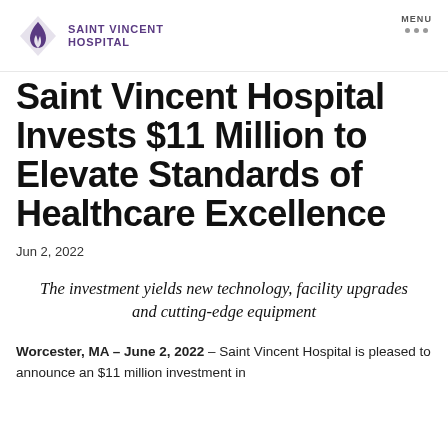[Figure (logo): Saint Vincent Hospital logo with purple flame/leaf icon and text 'SAINT VINCENT HOSPITAL' in purple uppercase letters]
Saint Vincent Hospital Invests $11 Million to Elevate Standards of Healthcare Excellence
Jun 2, 2022
The investment yields new technology, facility upgrades and cutting-edge equipment
Worcester, MA – June 2, 2022 – Saint Vincent Hospital is pleased to announce an $11 million investment in